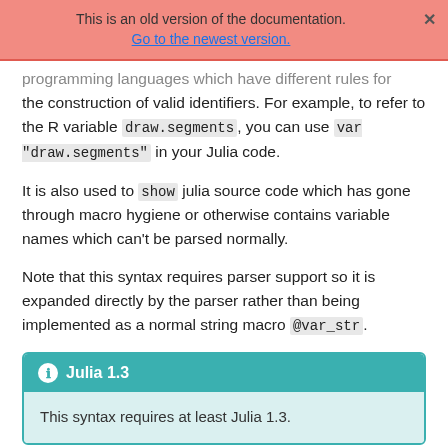This is an old version of the documentation.
Go to the newest version.
programming languages which have different rules for the construction of valid identifiers. For example, to refer to the R variable draw.segments, you can use var "draw.segments" in your Julia code.
It is also used to show julia source code which has gone through macro hygiene or otherwise contains variable names which can't be parsed normally.
Note that this syntax requires parser support so it is expanded directly by the parser rather than being implemented as a normal string macro @var_str.
Julia 1.3
This syntax requires at least Julia 1.3.